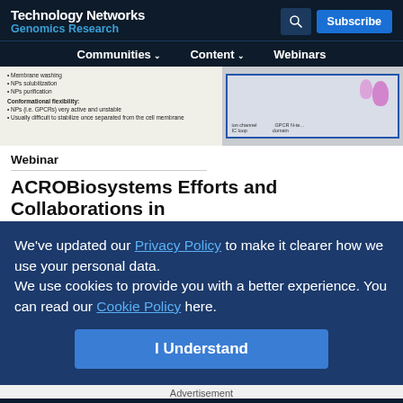Technology Networks
Genomics Research
Communities  Content  Webinars
[Figure (screenshot): Partial article image showing membrane protein diagram with text about membrane washing, NPs solubilization, NPs purification, Conformational flexibility, NPs (i.e. GPCRs) very active and unstable, Usually difficult to stabilize once separated from the cell membrane. Diagram shows ion channel and GPCR N-terminal domain comparison.]
Webinar
ACROBiosystems Efforts and Collaborations in
We've updated our Privacy Policy to make it clearer how we use your personal data.
We use cookies to provide you with a better experience. You can read our Cookie Policy here.
I Understand
Advertisement
[Figure (screenshot): Somalogic advertisement banner with dark background, somalogic logo, and text 'Pioneer with 7,000 proteins' where '7,000 proteins' is in green italic text.]